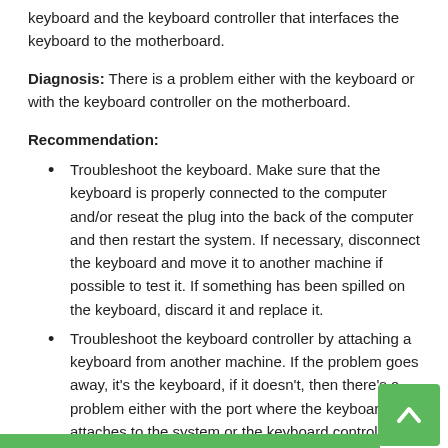keyboard and the keyboard controller that interfaces the keyboard to the motherboard.
Diagnosis: There is a problem either with the keyboard or with the keyboard controller on the motherboard.
Recommendation:
Troubleshoot the keyboard. Make sure that the keyboard is properly connected to the computer and/or reseat the plug into the back of the computer and then restart the system. If necessary, disconnect the keyboard and move it to another machine if possible to test it. If something has been spilled on the keyboard, discard it and replace it.
Troubleshoot the keyboard controller by attaching a keyboard from another machine. If the problem goes away, it's the keyboard, if it doesn't, then there's a problem either with the port where the keyboard attaches to the system or the keyboard controller on the motherboard.
If none of the above resolves the issue, troubleshoot as a motherboard failure and replace the motherboard.